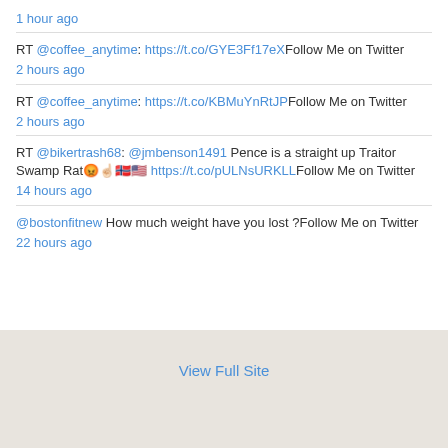1 hour ago
RT @coffee_anytime: https://t.co/GYE3Ff17eXFollow Me on Twitter
2 hours ago
RT @coffee_anytime: https://t.co/KBMuYnRtJPFollow Me on Twitter
2 hours ago
RT @bikertrash68: @jmbenson1491 Pence is a straight up Traitor Swamp Rat😡☝🏻🇳🇴🇺🇸 https://t.co/pULNsURKLLFollow Me on Twitter
14 hours ago
@bostonfitnew How much weight have you lost ?Follow Me on Twitter
22 hours ago
View Full Site